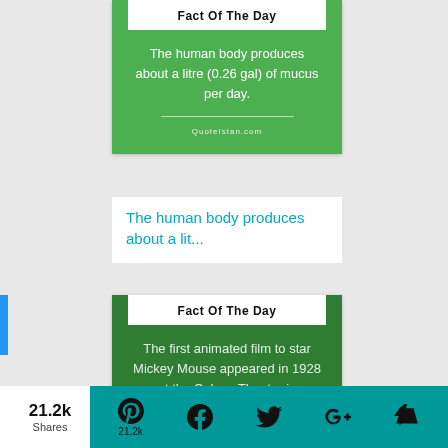[Figure (infographic): Green 'Fact Of The Day' card with text: The human body produces about a litre (0.26 gal) of mucus per day. QuoteIstan.com]
The human body produces about a lit...
[Figure (infographic): Dark green 'Fact Of The Day' card with text: The first animated film to star Mickey Mouse appeared in 1928 at the Colony Theatre in]
21.2k Shares  Pinterest 21.2k  Facebook  Twitter  Google+  Crown/Flipboard